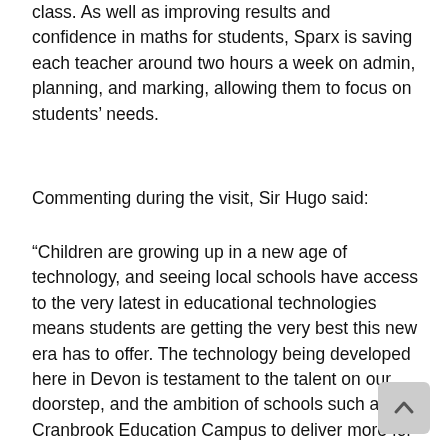class. As well as improving results and confidence in maths for students, Sparx is saving each teacher around two hours a week on admin, planning, and marking, allowing them to focus on students' needs.
Commenting during the visit, Sir Hugo said:
“Children are growing up in a new age of technology, and seeing local schools have access to the very latest in educational technologies means students are getting the very best this new era has to offer. The technology being developed here in Devon is testament to the talent on our doorstep, and the ambition of schools such as Cranbrook Education Campus to deliver more for students. With the Department for Education recently releasing its Education Technology strategy, I am